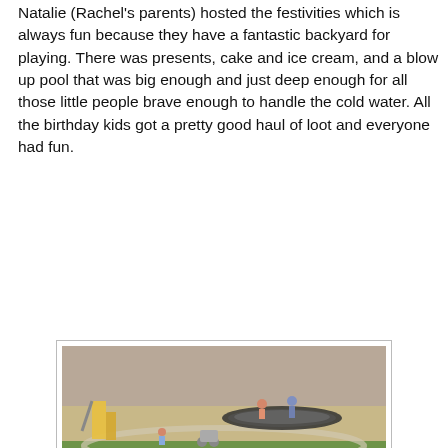Natalie (Rachel's parents) hosted the festivities which is always fun because they have a fantastic backyard for playing. There was presents, cake and ice cream, and a blow up pool that was big enough and just deep enough for all those little people brave enough to handle the cold water. All the birthday kids got a pretty good haul of loot and everyone had fun.
[Figure (photo): Backyard scene with children playing in a large blue inflatable pool in the foreground; in the background, children on a trampoline, a slide, and a patio/garden area. Date stamp 08/09/2008 visible.]
Kinsey, Ashton, Rachel & Aiden
[Figure (photo): Woman in black shirt outdoors with a small child, partial view at bottom of page.]